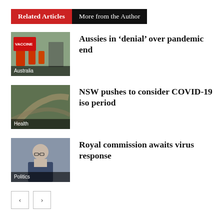Related Articles | More from the Author
[Figure (photo): Vaccine site with orange traffic cones, Australia category label]
Aussies in ‘denial’ over pandemic end
[Figure (photo): Aerial view of winding road or earthworks, Health category label]
NSW pushes to consider COVID-19 iso period
[Figure (photo): Portrait of man in glasses and blue suit jacket, Politics category label]
Royal commission awaits virus response
- Advertisement -